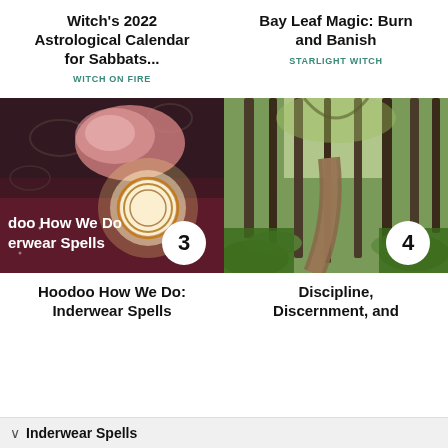Witch's 2022 Astrological Calendar for Sabbats...
WITCH ON FIRE
Bay Leaf Magic: Burn and Banish
STARLIGHT WITCH
[Figure (photo): Photo of crystals and a glowing candle on a dark floral cloth background, with overlaid text 'doo How We Do erwear Spells' and a number badge '3']
[Figure (photo): Photo of a forest path through green trees with a number badge '4']
Hoodoo How We Do: Inderwear Spells
Discipline, Discernment, and